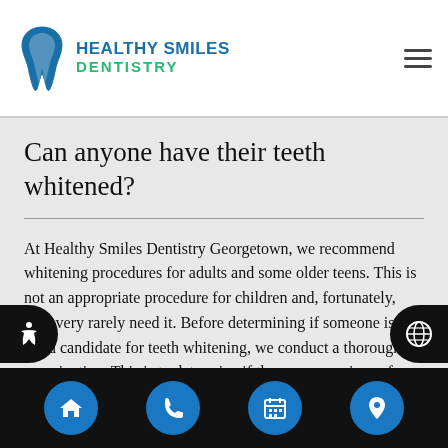Healthy Smiles Dentistry
Can anyone have their teeth whitened?
At Healthy Smiles Dentistry Georgetown, we recommend whitening procedures for adults and some older teens. This is not an appropriate procedure for children and, fortunately, they very rarely need it. Before determining if someone is a good candidate for teeth whitening, we conduct a thorough examination. This is to determine if there are any signs of cavities, infection or gum disease.
Navigation: Home, Phone, Calendar, Location